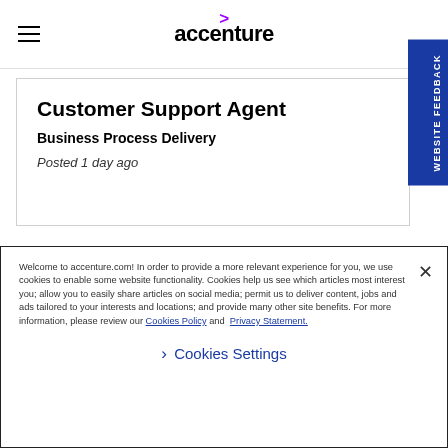accenture
Customer Support Agent
Business Process Delivery
Posted 1 day ago
USA | TN - LOUISVILLE
Customer Support Agent
Business Process Delivery
Welcome to accenture.com! In order to provide a more relevant experience for you, we use cookies to enable some website functionality. Cookies help us see which articles most interest you; allow you to easily share articles on social media; permit us to deliver content, jobs and ads tailored to your interests and locations; and provide many other site benefits. For more information, please review our Cookies Policy and Privacy Statement.
Cookies Settings